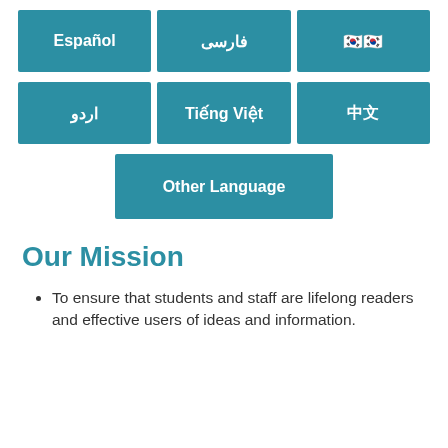[Figure (infographic): Language selection buttons grid: Español, فارسی, 한국어 (row 1); اردو, Tiếng Việt, 中文 (row 2); Other Language (centered, row 3)]
Our Mission
To ensure that students and staff are lifelong readers and effective users of ideas and information.